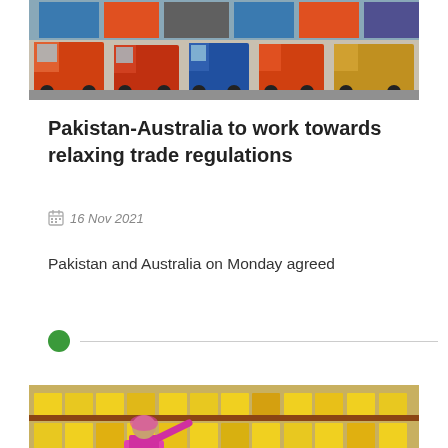[Figure (photo): Aerial/ground view of colorful freight trucks and shipping containers parked in a lot]
Pakistan-Australia to work towards relaxing trade regulations
16 Nov 2021
Pakistan and Australia on Monday agreed
[Figure (photo): Woman in pink sari browsing shelves stocked with packaged food products in a supermarket]